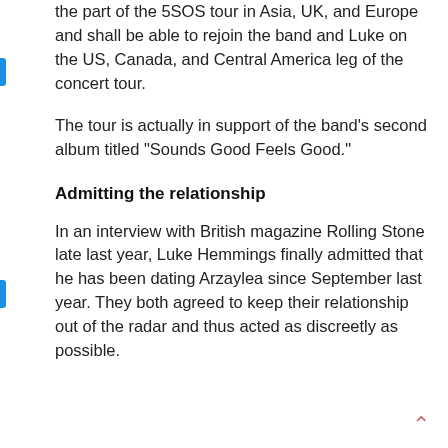the part of the 5SOS tour in Asia, UK, and Europe and shall be able to rejoin the band and Luke on the US, Canada, and Central America leg of the concert tour.
The tour is actually in support of the band's second album titled "Sounds Good Feels Good."
Admitting the relationship
In an interview with British magazine Rolling Stone late last year, Luke Hemmings finally admitted that he has been dating Arzaylea since September last year. They both agreed to keep their relationship out of the radar and thus acted as discreetly as possible.